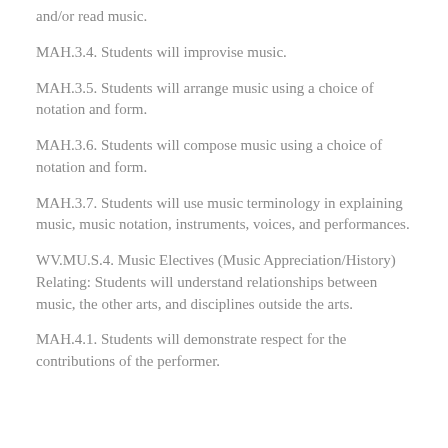and/or read music.
MAH.3.4. Students will improvise music.
MAH.3.5. Students will arrange music using a choice of notation and form.
MAH.3.6. Students will compose music using a choice of notation and form.
MAH.3.7. Students will use music terminology in explaining music, music notation, instruments, voices, and performances.
WV.MU.S.4. Music Electives (Music Appreciation/History) Relating: Students will understand relationships between music, the other arts, and disciplines outside the arts.
MAH.4.1. Students will demonstrate respect for the contributions of the performer.